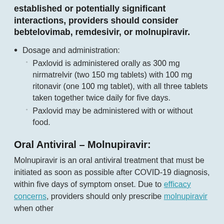established or potentially significant interactions, providers should consider bebtelovimab, remdesivir, or molnupiravir.
Dosage and administration:
Paxlovid is administered orally as 300 mg nirmatrelvir (two 150 mg tablets) with 100 mg ritonavir (one 100 mg tablet), with all three tablets taken together twice daily for five days.
Paxlovid may be administered with or without food.
Oral Antiviral – Molnupiravir:
Molnupiravir is an oral antiviral treatment that must be initiated as soon as possible after COVID-19 diagnosis, within five days of symptom onset. Due to efficacy concerns, providers should only prescribe molnupiravir when other